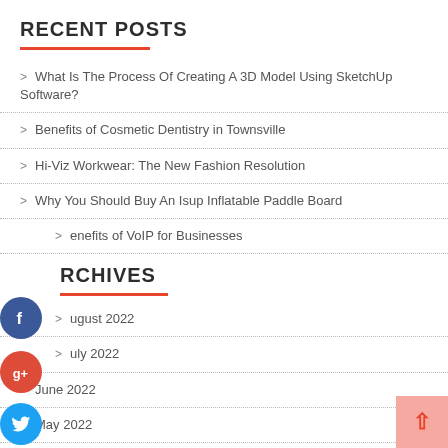RECENT POSTS
What Is The Process Of Creating A 3D Model Using SketchUp Software?
Benefits of Cosmetic Dentistry in Townsville
Hi-Viz Workwear: The New Fashion Resolution
Why You Should Buy An Isup Inflatable Paddle Board
Benefits of VoIP for Businesses
ARCHIVES
August 2022
July 2022
June 2022
May 2022